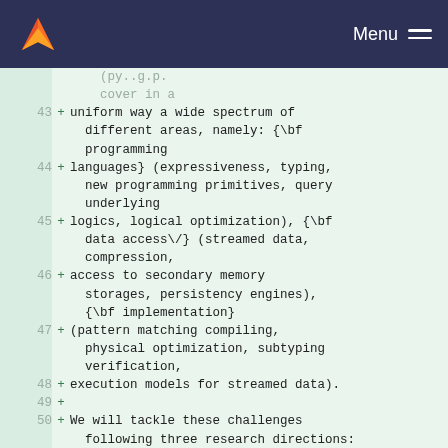Menu
cover in a
43 + uniform way a wide spectrum of different areas, namely: {\bf programming
44 + languages} (expressiveness, typing, new programming primitives, query underlying
45 + logics, logical optimization), {\bf data access\/} (streamed data, compression,
46 + access to secondary memory storages, persistency engines), {\bf implementation}
47 + (pattern matching compiling, physical optimization, subtyping verification,
48 + execution models for streamed data).
49 +
50 + We will tackle these challenges following three research directions: